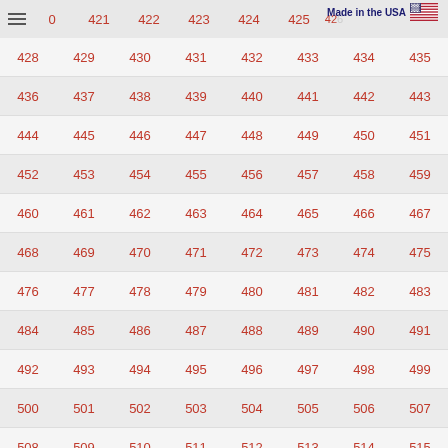[Figure (logo): Hamburger menu icon (three horizontal lines) in top-left header area]
Made in the USA
[Figure (illustration): US flag icon]
| 0 | 421 | 422 | 423 | 424 | 425 | 426 | 427 |
| 428 | 429 | 430 | 431 | 432 | 433 | 434 | 435 |
| 436 | 437 | 438 | 439 | 440 | 441 | 442 | 443 |
| 444 | 445 | 446 | 447 | 448 | 449 | 450 | 451 |
| 452 | 453 | 454 | 455 | 456 | 457 | 458 | 459 |
| 460 | 461 | 462 | 463 | 464 | 465 | 466 | 467 |
| 468 | 469 | 470 | 471 | 472 | 473 | 474 | 475 |
| 476 | 477 | 478 | 479 | 480 | 481 | 482 | 483 |
| 484 | 485 | 486 | 487 | 488 | 489 | 490 | 491 |
| 492 | 493 | 494 | 495 | 496 | 497 | 498 | 499 |
| 500 | 501 | 502 | 503 | 504 | 505 | 506 | 507 |
| 508 | 509 | 510 | 511 | 512 | 513 | 514 | 515 |
| 516 | 517 | 518 | 519 | 520 | 521 | 522 | 523 |
| 524 | 525 | 526 | 527 | 528 | 529 | 530 | 531 |